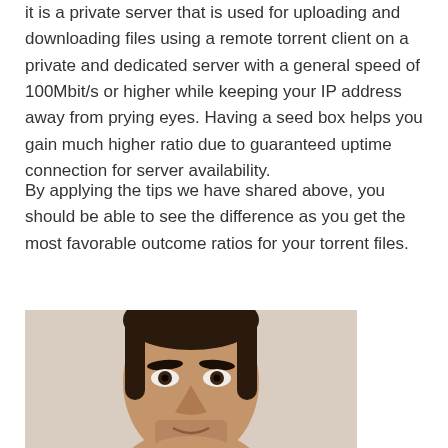it is a private server that is used for uploading and downloading files using a remote torrent client on a private and dedicated server with a general speed of 100Mbit/s or higher while keeping your IP address away from prying eyes. Having a seed box helps you gain much higher ratio due to guaranteed uptime connection for server availability.
By applying the tips we have shared above, you should be able to see the difference as you get the most favorable outcome ratios for your torrent files.
[Figure (photo): Portrait photo of a man with dark hair pulled back, looking directly at the camera, with a slight stubble beard, against a light background.]